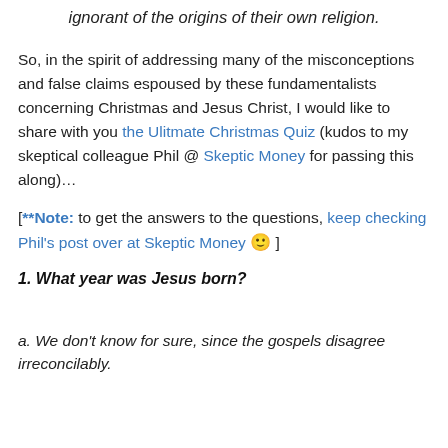ignorant of the origins of their own religion.
So, in the spirit of addressing many of the misconceptions and false claims espoused by these fundamentalists concerning Christmas and Jesus Christ, I would like to share with you the Ulitmate Christmas Quiz (kudos to my skeptical colleague Phil @ Skeptic Money for passing this along)…
[**Note: to get the answers to the questions, keep checking Phil's post over at Skeptic Money 🙂 ]
1. What year was Jesus born?
a. We don't know for sure, since the gospels disagree irreconcilably.